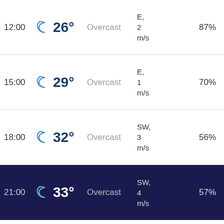| Time | Icon | Temp | Condition | Wind | Humidity |
| --- | --- | --- | --- | --- | --- |
| 12:00 | (moon) | 26° | Overcast | E, 2 m/s | 87% |
| 15:00 | (moon) | 29° | Overcast | E, 1 m/s | 70% |
| 18:00 | (moon) | 32° | Overcast | SW, 3 m/s | 56% |
| 21:00 | (moon) | 33° | Overcast | SW, 4 m/s | 57% |
Retrospective forecast on 22 August
-24h
-48h